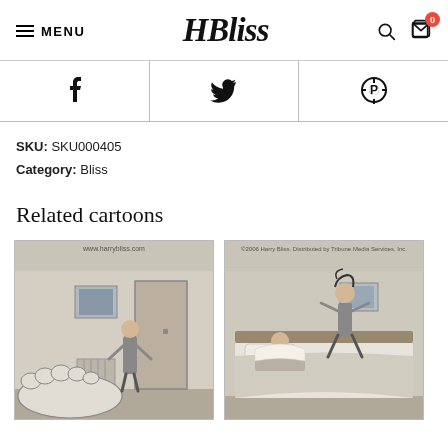MENU | HBliss logo | search | cart (0)
f  (Twitter bird)  (Pinterest P)
SKU: SKU000405
Category: Bliss
Related cartoons
[Figure (illustration): Harry Bliss cartoon: man standing in living room looking at large foot or blob on floor]
[Figure (illustration): Harry Bliss cartoon: person jumping on bed while another person reads in bed in bedroom scene]